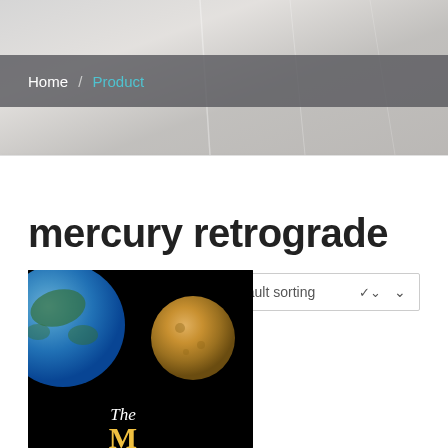Home / Product
mercury retrograde
Showing the single result
[Figure (screenshot): Product listing image showing Earth and Mercury planets on black background with text 'The M...']